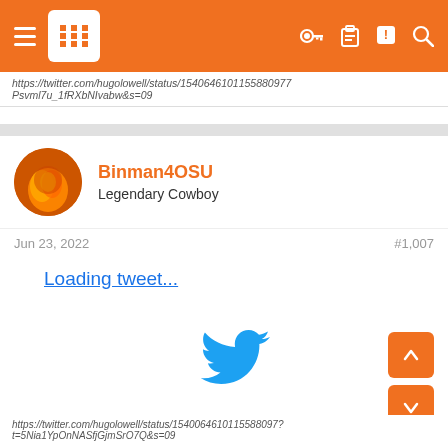Binman4OSU thread page header with navigation icons
https://twitter.com/hugolowell/status/1540646101155880977
Psvml7u_1fRXbNIvabw&s=09
Binman4OSU
Legendary Cowboy
Jun 23, 2022	#1,007
Loading tweet...
[Figure (logo): Twitter bird logo in blue]
https://twitter.com/hugolowell/status/1540064610115588097?t=5Nia1YpOnNASfjGjmSrO7Q&s=09